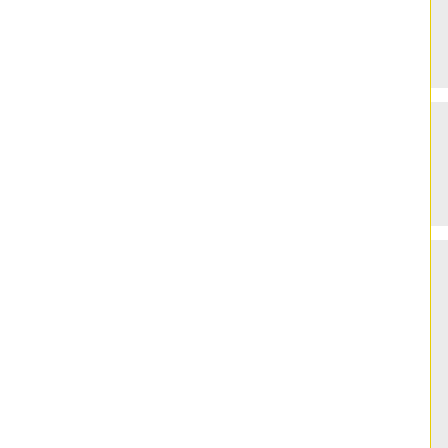Florida
34994
Call for Executive Suites
[Figure (other): 4.5 star rating (4 filled stars, 1 empty star)]
U.S. Highway One
Suite 102
Jupiter
Florida
33469
[Figure (other): Map pin marker labeled B]
Office Space Jupiter
Type of offices: Execu...
Executive office suites fu...
Call for Office Space pri...
[Figure (other): 5 star rating (5 filled stars)]
[Figure (photo): Photo of Northcorp Parkway office building - modern white multi-story building with palms]
Northcorp Parkway
Palm Beach Gardens
Florida
33410
[Figure (other): Map pin marker labeled C]
Palm Beach Gardens...
Type of offices: Execu...
Air Conditioning...
High speed Inte...
Staffed reception...
Call for Executive Suites...
[Figure (other): 4.5 star rating (4 filled stars, 1 empty star)]
S Dixie Hwy
West Palm Beach
Florida
33401
[Figure (other): Map pin marker labeled D]
Downtown West Palm...
Type of offices: Mana...
Air Conditioning...
Lift/elevators